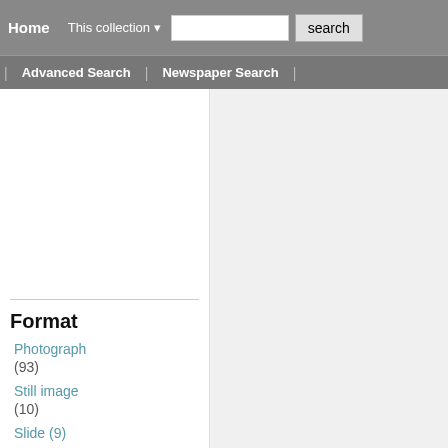Home  This collection ▾  [search box]  search
Advanced Search  |  Newspaper Search
Format
Photograph (93)
Still image (10)
Slide (9)
Show more
Subjects